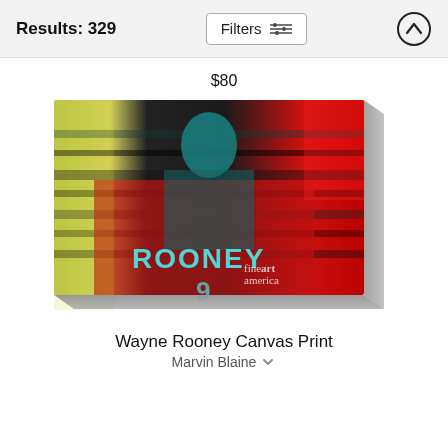Results: 329   Filters
$80
[Figure (photo): Wayne Rooney art canvas print showing a footballer in a red jersey with 'ROONEY' printed on the back, with a colorful motion-blur artistic effect. Fine Art America watermark visible in bottom right.]
Wayne Rooney Canvas Print
Marvin Blaine